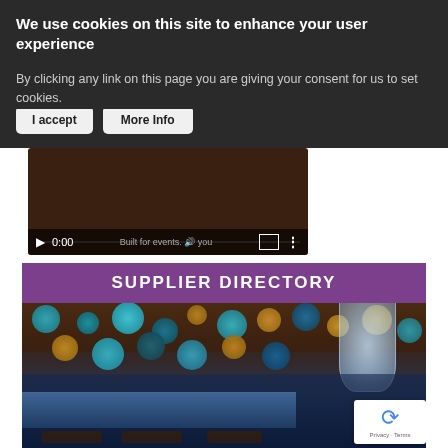We use cookies on this site to enhance your user experience
By clicking any link on this page you are giving your consent for us to set cookies.
[Figure (screenshot): Cookie consent banner with 'I accept' and 'More Info' buttons on dark background]
[Figure (screenshot): Video player showing 0:00 timestamp with play button, volume, fullscreen and more options controls on dark brownish background]
SUPPLIER DIRECTORY
[Figure (photo): Event venue decorated with colorful teal, gold, and brown paper lanterns hanging from ceiling, with elegant crystal chandelier and table settings below in a large windowed room]